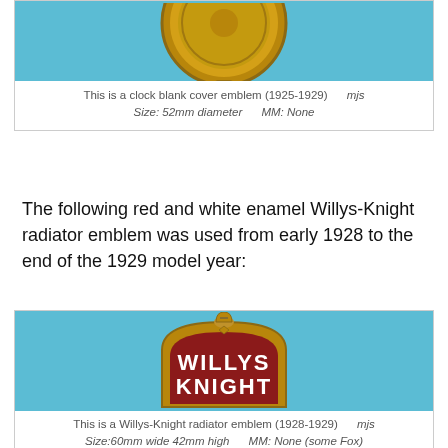[Figure (photo): Partial view of a clock blank cover emblem (1925-1929) on a light blue background, showing the bottom portion of a round gold emblem.]
This is a clock blank cover emblem (1925-1929)    mjs
Size: 52mm diameter    MM: None
The following red and white enamel Willys-Knight radiator emblem was used from early 1928 to the end of the 1929 model year:
[Figure (photo): A red and white enamel Willys-Knight radiator emblem (1928-1929) with gold border. The emblem has a knight helmet topper and reads WILLYS KNIGHT in white letters on a dark red enamel background.]
This is a Willys-Knight radiator emblem (1928-1929)    mjs
Size:60mm wide 42mm high    MM: None (some Fox)